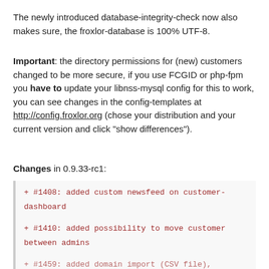The newly introduced database-integrity-check now also makes sure, the froxlor-database is 100% UTF-8.
Important: the directory permissions for (new) customers changed to be more secure, if you use FCGID or php-fpm you have to update your libnss-mysql config for this to work, you can see changes in the config-templates at http://config.froxlor.org (chose your distribution and your current version and click "show differences").
Changes in 0.9.33-rc1:
+ #1408: added custom newsfeed on customer-dashboard
+ #1410: added possibility to move customer between admins
+ #1459: added domain import (CSV file), infos...